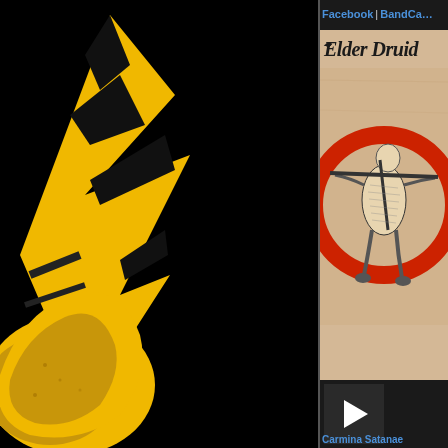[Figure (logo): Yellow and black logo/illustration on black background, left panel]
Facebook | BandCa…
[Figure (illustration): Elder Druid album art on parchment-colored background with medieval blackletter title and figure holding a crossed instrument inside a red circle]
[Figure (other): Play button (dark square with white triangle) for media player]
Carmina Satanae